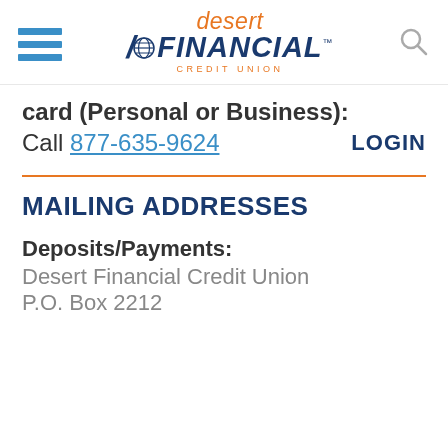[Figure (logo): Desert Financial Credit Union logo with hamburger menu and search icon]
Card (Personal or Business):
Call 877-635-9624   LOGIN
MAILING ADDRESSES
Deposits/Payments:
Desert Financial Credit Union
P.O. Box ...